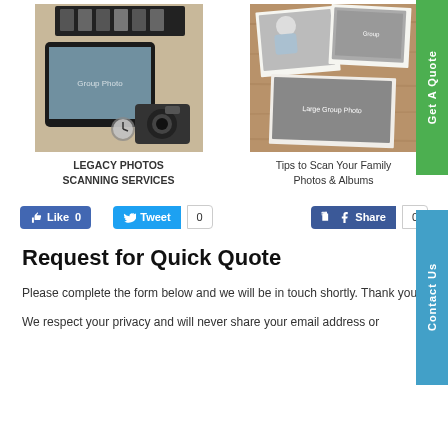[Figure (photo): Legacy Photos Scanning Services - film negatives, tablet with group photo, camera]
LEGACY PHOTOS SCANNING SERVICES
[Figure (photo): Tips to Scan Your Family Photos & Albums - scattered black and white vintage photographs on wooden surface]
Tips to Scan Your Family Photos & Albums
[Figure (screenshot): Social media buttons: Like 0, Tweet 0, Share 0]
Request for Quick Quote
Please complete the form below and we will be in touch shortly. Thank you.
We respect your privacy and will never share your email address or